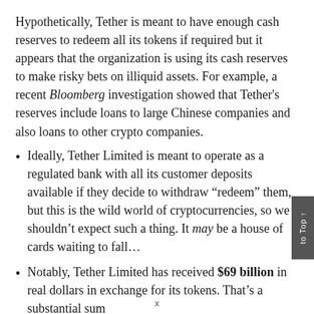Hypothetically, Tether is meant to have enough cash reserves to redeem all its tokens if required but it appears that the organization is using its cash reserves to make risky bets on illiquid assets. For example, a recent Bloomberg investigation showed that Tether's reserves include loans to large Chinese companies and also loans to other crypto companies.
Ideally, Tether Limited is meant to operate as a regulated bank with all its customer deposits available if they decide to withdraw “redeem” them, but this is the wild world of cryptocurrencies, so we shouldn’t expect such a thing. It may be a house of cards waiting to fall…
Notably, Tether Limited has received $69 billion in real dollars in exchange for its tokens. That’s a substantial sum